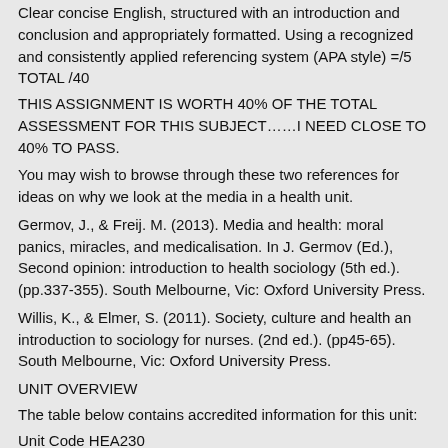Clear concise English, structured with an introduction and conclusion and appropriately formatted. Using a recognized and consistently applied referencing system (APA style) =/5
TOTAL /40
THIS ASSIGNMENT IS WORTH 40% OF THE TOTAL ASSESSMENT FOR THIS SUBJECT……I NEED CLOSE TO 40% TO PASS.
You may wish to browse through these two references for ideas on why we look at the media in a health unit.
Germov, J., & Freij. M. (2013). Media and health: moral panics, miracles, and medicalisation. In J. Germov (Ed.), Second opinion: introduction to health sociology (5th ed.). (pp.337-355). South Melbourne, Vic: Oxford University Press.
Willis, K., & Elmer, S. (2011). Society, culture and health an introduction to sociology for nurses. (2nd ed.). (pp45-65). South Melbourne, Vic: Oxford University Press.
UNIT OVERVIEW
The table below contains accredited information for this unit:
Unit Code HEA230
Unit Name Cultural Competence In Healthcare